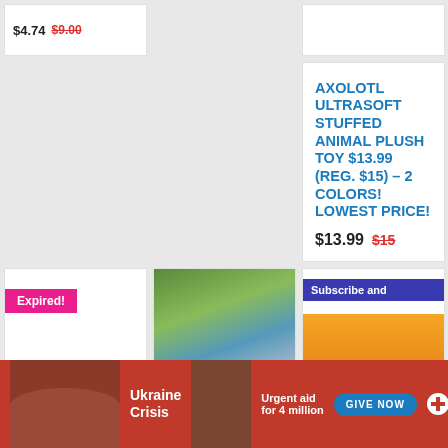$4.74 $9.00
AXOLOTL ULTRASOFT STUFFED ANIMAL PLUSH TOY $13.99 (REG. $15) – 2 COLORS! LOWEST PRICE!
$13.99 $15
[Figure (photo): Expired badge on product card]
[Figure (photo): Product image with outdoor scene]
[Figure (photo): Subscribe and save product card]
[Figure (screenshot): Ukraine Crisis CARE donation advertisement banner with Give Now button]